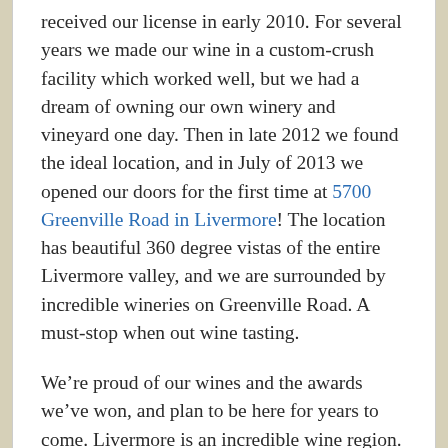received our license in early 2010. For several years we made our wine in a custom-crush facility which worked well, but we had a dream of owning our own winery and vineyard one day.  Then in late 2012 we found the ideal location, and in July of 2013 we opened our doors for the first time at 5700 Greenville Road in Livermore!   The location has beautiful 360 degree vistas of the entire Livermore valley, and we are surrounded by incredible wineries on Greenville Road.  A must-stop when out wine tasting.
We’re proud of our wines and the awards we’ve won, and plan to be here for years to come.  Livermore is an incredible wine region.  The other wine makers have been so helpful and extended their hands, experience, and resources to us.  In this type of wine community you can’t help but make quality wine.
Our philosophy is to buy the best grapes from the regions in addition to Livermore where particular varietals grow best, bring the fruit back to our winery in Livermore, and turn it into wine.  We have